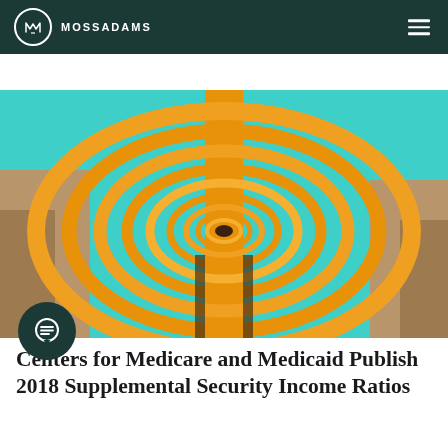MOSSADAMS
[Figure (photo): Close-up abstract photo of concentric orange/yellow rings forming a spiral tunnel pattern, shot from below against a teal sky background]
Centers for Medicare and Medicaid Publish 2018 Supplemental Security Income Ratios